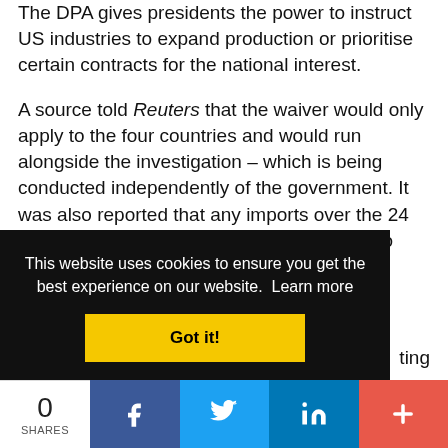The DPA gives presidents the power to instruct US industries to expand production or prioritise certain contracts for the national interest.
A source told Reuters that the waiver would only apply to the four countries and would run alongside the investigation – which is being conducted independently of the government. It was also reported that any imports over the 24 month period will not be subject to duties, no matter the outcome of the investigation.
The tariffs on Chinese solar panels began in 2012 under ... ting ... ump in
This website uses cookies to ensure you get the best experience on our website. Learn more
Got it!
0 SHARES